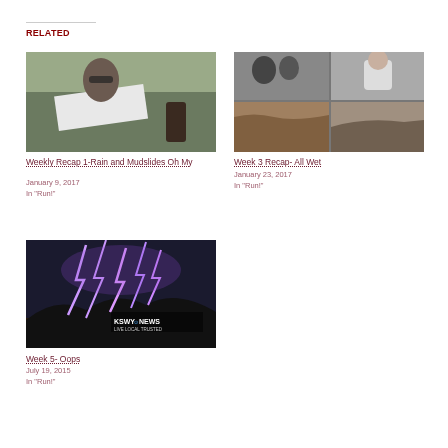Related
[Figure (photo): Collage of outdoor running photos with a woman in sunglasses, tents, and stormy sky]
Weekly Recap 1-Rain and Mudslides Oh My
January 9, 2017
In "Run!"
[Figure (photo): Collage of four photos showing people and a muddy flooded landscape]
Week 3 Recap- All Wet
January 23, 2017
In "Run!"
[Figure (photo): Lightning storm over a city at night with TV news station KSWY logo visible]
Week 5- Oops
July 19, 2015
In "Run!"